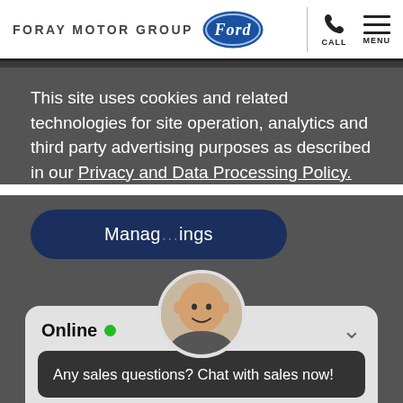[Figure (logo): Foray Motor Group with Ford oval logo in website header]
This site uses cookies and related technologies for site operation, analytics and third party advertising purposes as described in our Privacy and Data Processing Policy.
Manage Settings
[Figure (photo): Chat widget showing a smiling bald man avatar, Online status with green dot, message bubble saying 'Any sales questions? Chat with sales now!', and a Submit your question input field with Send button]